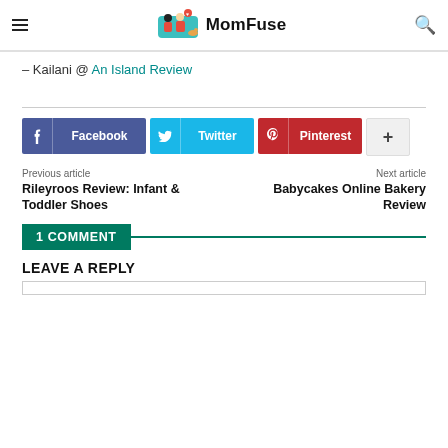MomFuse
– Kailani @ An Island Review
[Figure (infographic): Social share buttons: Facebook, Twitter, Pinterest, and a plus/more button]
Previous article
Rileyroos Review: Infant & Toddler Shoes
Next article
Babycakes Online Bakery Review
1 COMMENT
LEAVE A REPLY